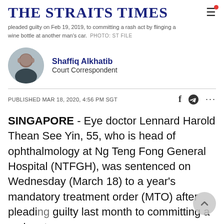THE STRAITS TIMES
pleaded guilty on Feb 19, 2019, to committing a rash act by flinging a wine bottle at another man's car. PHOTO: ST FILE
Shaffiq Alkhatib
Court Correspondent
PUBLISHED MAR 18, 2020, 4:56 PM SGT
SINGAPORE - Eye doctor Lennard Harold Thean See Yin, 55, who is head of ophthalmology at Ng Teng Fong General Hospital (NTFGH), was sentenced on Wednesday (March 18) to a year's mandatory treatment order (MTO) after pleading guilty last month to committing a rash act.